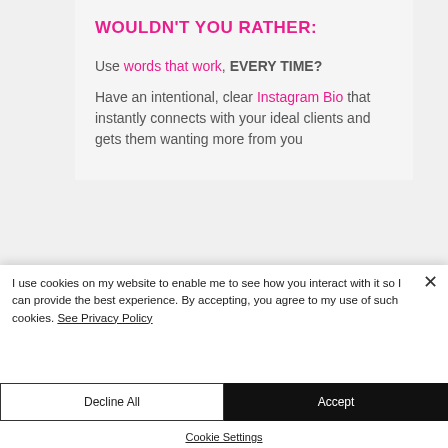WOULDN'T YOU RATHER:
Use words that work, EVERY TIME?
Have an intentional, clear Instagram Bio that instantly connects with your ideal clients and gets them wanting more from you
I use cookies on my website to enable me to see how you interact with it so I can provide the best experience. By accepting, you agree to my use of such cookies. See Privacy Policy
Decline All
Accept
Cookie Settings